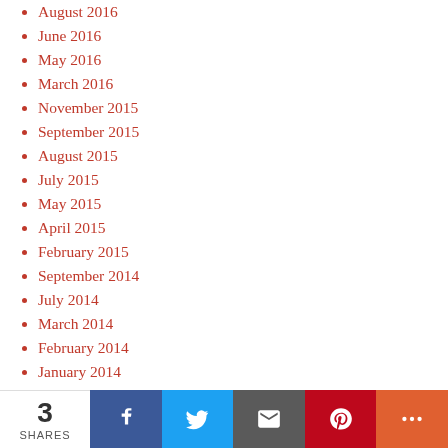August 2016
June 2016
May 2016
March 2016
November 2015
September 2015
August 2015
July 2015
May 2015
April 2015
February 2015
September 2014
July 2014
March 2014
February 2014
January 2014
September 2013
May 2013
March 2013
June 2012
RECENT COMMENTS
Carl Moyler on The Nexus of Peacebuilding, Development and